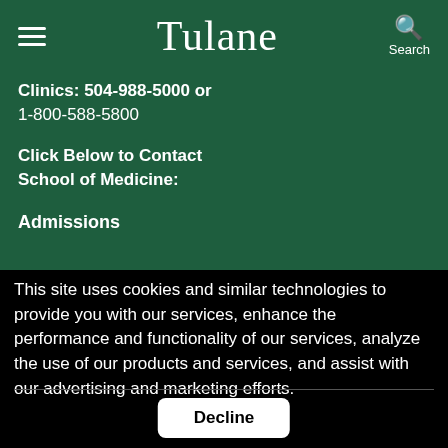Tulane | Search
Clinics: 504-988-5000 or 1-800-588-5800
Click Below to Contact School of Medicine:
Admissions
This site uses cookies and similar technologies to provide you with our services, enhance the performance and functionality of our services, analyze the use of our products and services, and assist with our advertising and marketing efforts.